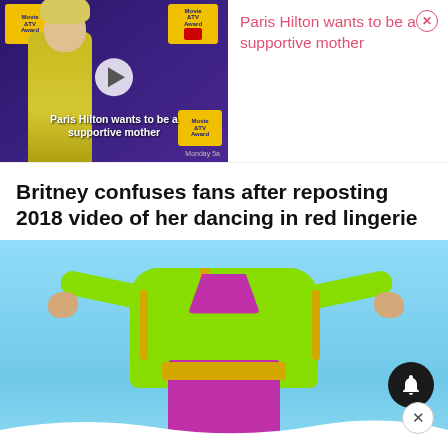[Figure (screenshot): Video thumbnail showing Paris Hilton at MTV Movie & TV Awards with play button overlay]
Paris Hilton wants to be a supportive mother
Britney confuses fans after reposting 2018 video of her dancing in red lingerie
[Figure (photo): Person wearing bright green jacket and purple dress with arms outstretched against light blue background]